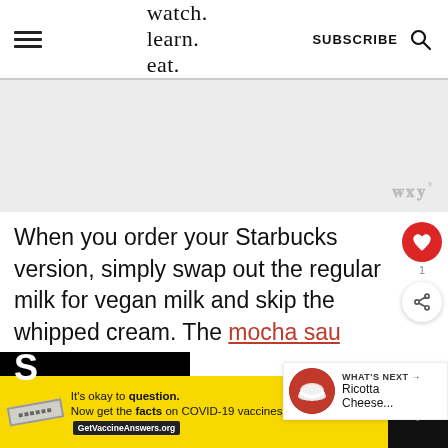watch. learn. eat. | SUBSCRIBE
[Figure (other): Gray advertisement placeholder block with Wondrium logo watermark (www) at bottom right]
When you order your Starbucks version, simply swap out the regular milk for vegan milk and skip the whipped cream. The mocha sauce does not contain any dairy.
[Figure (other): WHAT'S NEXT arrow widget showing Ricotta Cheese... thumbnail]
[Figure (other): Bottom advertisement banner: It's okay to question. Now get the facts on COVID-19 vaccines | GetVaccineAnswers.org]